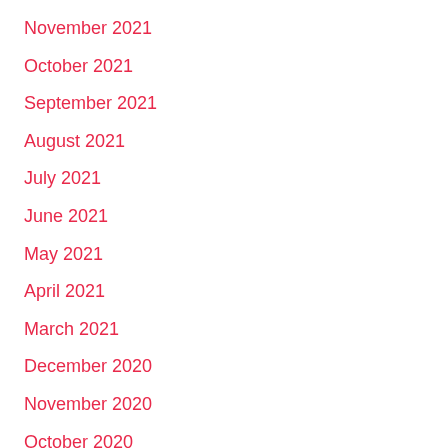November 2021
October 2021
September 2021
August 2021
July 2021
June 2021
May 2021
April 2021
March 2021
December 2020
November 2020
October 2020
August 2020